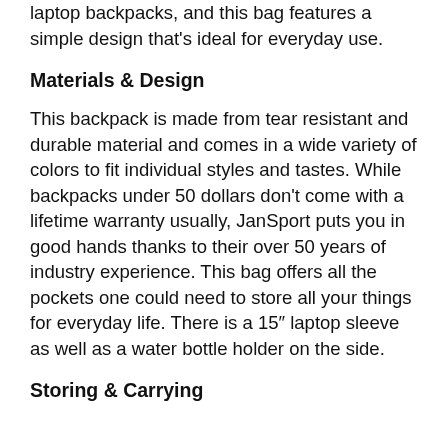laptop backpacks, and this bag features a simple design that's ideal for everyday use.
Materials & Design
This backpack is made from tear resistant and durable material and comes in a wide variety of colors to fit individual styles and tastes. While backpacks under 50 dollars don't come with a lifetime warranty usually, JanSport puts you in good hands thanks to their over 50 years of industry experience. This bag offers all the pockets one could need to store all your things for everyday life. There is a 15″ laptop sleeve as well as a water bottle holder on the side.
Storing & Carrying